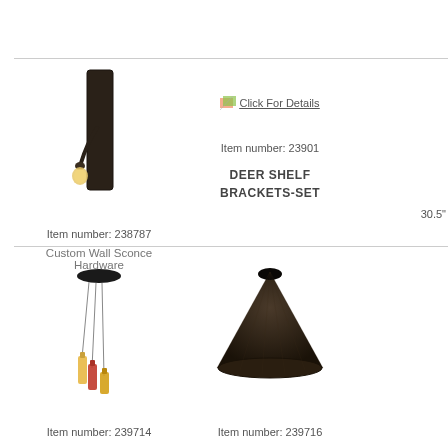[Figure (photo): Wall sconce hardware with gooseneck arm and Edison bulb on dark backplate]
Item number: 238787
Custom Wall Sconce Hardware
[Figure (other): Click For Details link with broken image icon placeholder]
Item number: 23901
DEER SHELF BRACKETS-SET
30.5"
[Figure (photo): Pendant light with dark canopy and three hanging colored bottle pendants in yellow, red, and gold]
[Figure (photo): Dark brown textured cone-shaped lamp shade]
Item number: 239714
Item number: 239716